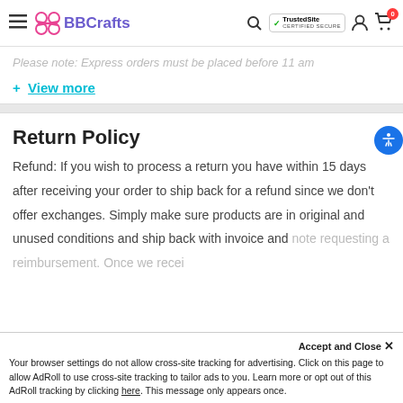BBCrafts — navigation header with search, TrustedSite badge, user icon, and cart (0)
Please note: Express orders must be placed before 11 am
+ View more
Return Policy
Refund: If you wish to process a return you have within 15 days after receiving your order to ship back for a refund since we don't offer exchanges. Simply make sure products are in original and unused conditions and ship back with invoice and note requesting a reimbursement. Once we receive...
Accept and Close ×
Your browser settings do not allow cross-site tracking for advertising. Click on this page to allow AdRoll to use cross-site tracking to tailor ads to you. Learn more or opt out of this AdRoll tracking by clicking here. This message only appears once.